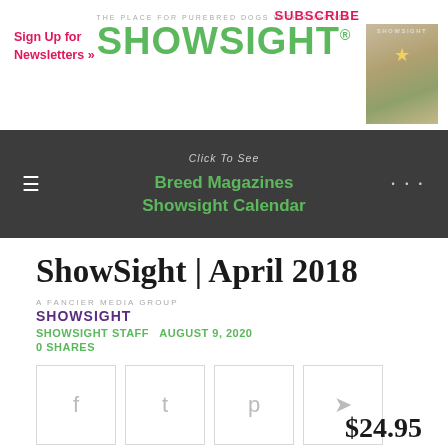Sign Up for Newsletters »
[Figure (logo): ShowSight magazine logo with tagline 'The Place for Purebred Dogs with Purpose']
SUBSCRIBE
[Figure (photo): ShowSight magazine cover thumbnail]
Click To See
Breed Magazines
Showsight Calendar
ShowSight | April 2018
[Figure (logo): ShowSight staff logo mark]
SHOWSIGHT STAFF AUGUST 9, 2020
0 SHARES
$24.95